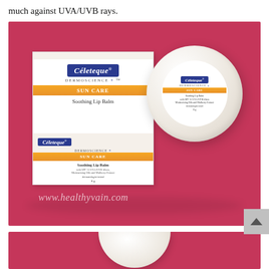much against UVA/UVB rays.
[Figure (photo): Photo of Céleteque DermoScience Sun Care Soothing Lip Balm product — a white cardboard box and a round white plastic jar with the product label, both placed on a pink/red surface. Watermark 'www.healthyvain.com' visible in lower left of photo.]
[Figure (photo): Partial photo of Céleteque DermoScience Sun Care Soothing Lip Balm round jar, cropped showing mainly the top of the jar on a pink/red surface.]